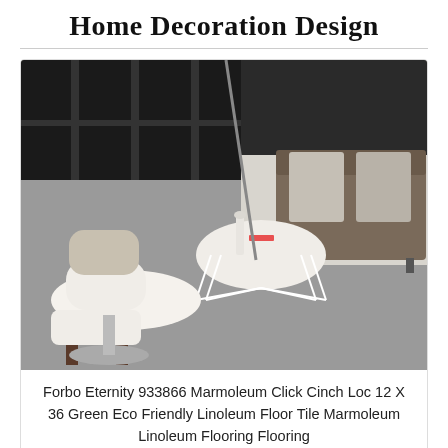Home Decoration Design
[Figure (photo): Modern living room with Eames lounge chair and ottoman, white wire-frame coffee table with decorative items, gray sofa with cushions, and gray linoleum floor.]
Forbo Eternity 933866 Marmoleum Click Cinch Loc 12 X 36 Green Eco Friendly Linoleum Floor Tile Marmoleum Linoleum Flooring Flooring
[Figure (photo): Close-up of a shiny dark floor surface with light reflection.]